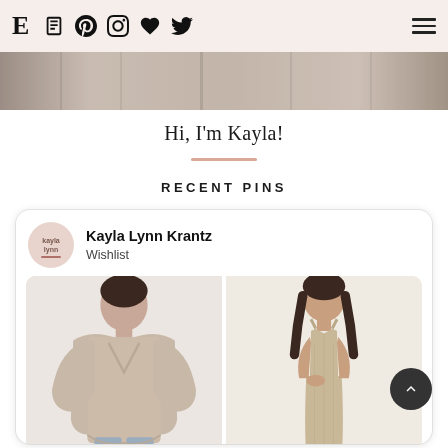E [blog icon] [pinterest icon] [instagram icon] [like icon] [twitter icon] [menu]
[Figure (photo): Top banner photo strip showing a partially visible lifestyle/fashion blog header image]
Hi, I'm Kayla!
RECENT PINS
[Figure (screenshot): Pinterest widget card showing Kayla Lynn Krantz's Wishlist board with two fashion photos: a woman in an oversized beige v-neck sweater and a woman in a beige strappy midi dress]